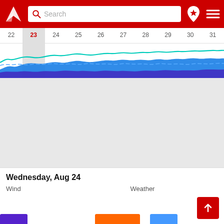[Figure (screenshot): Red app header with logo, search bar, location pin icon, and hamburger menu]
[Figure (continuous-plot): Horizontal calendar date strip showing dates 22-31 with wave/tide chart underneath showing blue and teal wave lines]
Wednesday, Aug 24
Wind
Weather